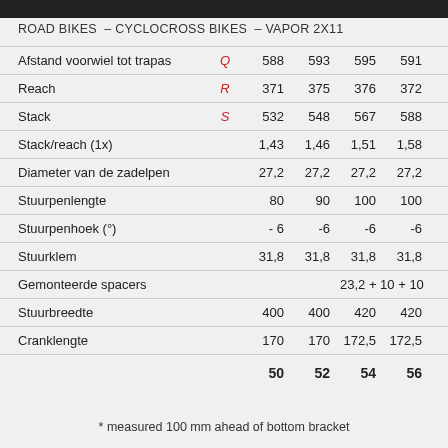ROAD BIKES – CYCLOCROSS BIKES – VAPOR 2X11
|  |  | 50 | 52 | 54 | 56 |
| --- | --- | --- | --- | --- | --- |
| Afstand voorwiel tot trapas | Q | 588 | 593 | 595 | 591 |
| Reach | R | 371 | 375 | 376 | 372 |
| Stack | S | 532 | 548 | 567 | 588 |
| Stack/reach (1x) |  | 1,43 | 1,46 | 1,51 | 1,58 |
| Diameter van de zadelpen |  | 27,2 | 27,2 | 27,2 | 27,2 |
| Stuurpenlengte |  | 80 | 90 | 100 | 100 |
| Stuurpenhoek (°) |  | - 6 | -6 | -6 | -6 |
| Stuurklem |  | 31,8 | 31,8 | 31,8 | 31,8 |
| Gemonteerde spacers |  |  |  | 23,2 + 10 + 10 |  |
| Stuurbreedte |  | 400 | 400 | 420 | 420 |
| Cranklengte |  | 170 | 170 | 172,5 | 172,5 |
* measured 100 mm ahead of bottom bracket